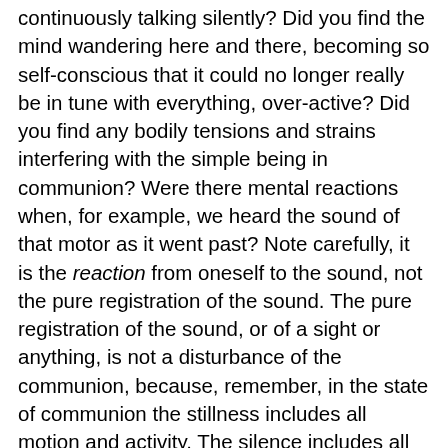continuously talking silently? Did you find the mind wandering here and there, becoming so self-conscious that it could no longer really be in tune with everything, over-active? Did you find any bodily tensions and strains interfering with the simple being in communion? Were there mental reactions when, for example, we heard the sound of that motor as it went past? Note carefully, it is the reaction from oneself to the sound, not the pure registration of the sound. The pure registration of the sound, or of a sight or anything, is not a disturbance of the communion, because, remember, in the state of communion the stillness includes all motion and activity. The silence includes all sound. The silence and stillness of Meditation is a state in which there is no self-conscious reaction against or for what you hear or see. Then you are in harmony. If we think of this inward harmony, this silence and stillness as we have called it throughout the centuries, as something static, not to be disturbed, like when you put a notice outside the door, “Busy, not to be disturbed”, then the process of the universe should stop. But it doesn’t, it just goes on. The